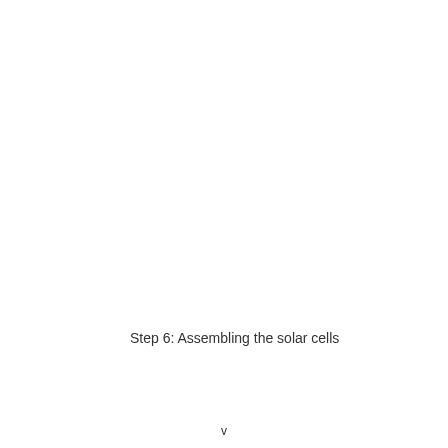Step 6: Assembling the solar cells
v